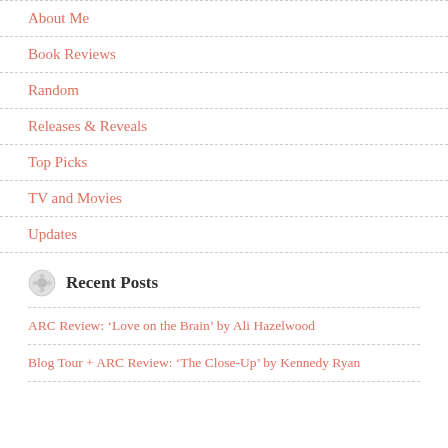About Me
Book Reviews
Random
Releases & Reveals
Top Picks
TV and Movies
Updates
Recent Posts
ARC Review: ‘Love on the Brain’ by Ali Hazelwood
Blog Tour + ARC Review: ‘The Close-Up’ by Kennedy Ryan